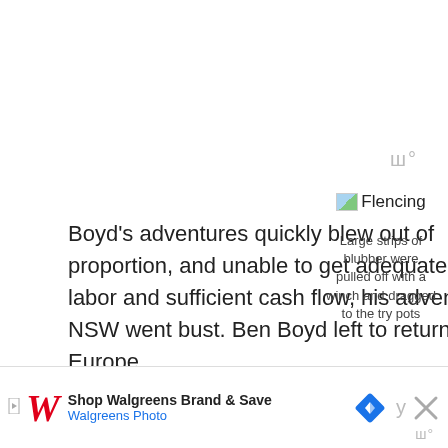ш°
[Figure (illustration): Small thumbnail image placeholder labeled Flencing with a landscape/sky icon]
Flencing
Large strips of blubber were pulled off with a winch and dragged to the try pots
Boyd's adventures quickly blew out of proportion, and unable to get adequate cheap labor and sufficient cash flow, his adventure in NSW went bust. Ben Boyd left to return to Europe.
[Figure (infographic): Advertisement banner: Shop Walgreens Brand & Save - Walgreens Photo, with Walgreens W logo, a blue navigation/directions icon, and a close X button]